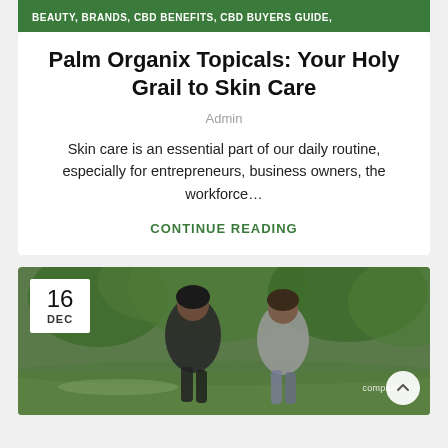BEAUTY, BRANDS, CBD BENEFITS, CBD BUYERS GUIDE,
Palm Organix Topicals: Your Holy Grail to Skin Care
Admin
Skin care is an essential part of our daily routine, especially for entrepreneurs, business owners, the workforce…
CONTINUE READING
[Figure (photo): Two women laughing and jogging outdoors in a green park setting. Date badge shows '16 DEC'. Watermark reads 'compareCBD'.]